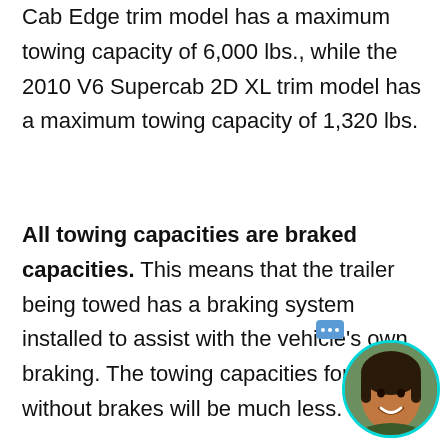Cab Edge trim model has a maximum towing capacity of 6,000 lbs., while the 2010 V6 Supercab 2D XL trim model has a maximum towing capacity of 1,320 lbs.
All towing capacities are braked capacities. This means that the trailer being towed has a braking system installed to assist with the vehicle's own braking. The towing capacities for trailers without brakes will be much less.